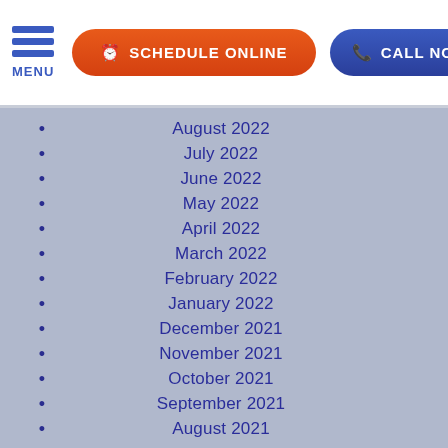MENU | SCHEDULE ONLINE | CALL NOW
August 2022
July 2022
June 2022
May 2022
April 2022
March 2022
February 2022
January 2022
December 2021
November 2021
October 2021
September 2021
August 2021